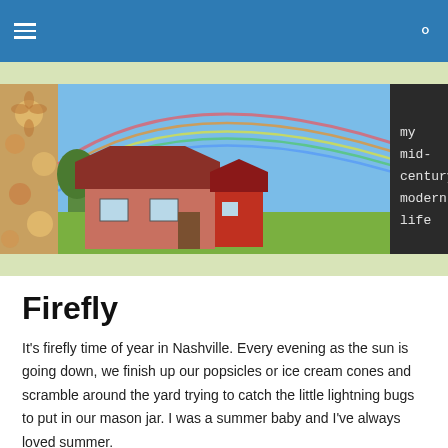Navigation bar with hamburger menu and search icon
[Figure (illustration): Website header banner showing a mid-century modern house with rainbow on the left, a dark panel with text 'my mid-century modern life' in the center, a family photo on the right, and decorative floral patterns on the outer edges.]
Firefly
It's firefly time of year in Nashville. Every evening as the sun is going down, we finish up our popsicles or ice cream cones and scramble around the yard trying to catch the little lightning bugs to put in our mason jar. I was a summer baby and I've always loved summer.
Things have been pretty quiet around here. I just finished up some big deadlines at work and a freelance project that